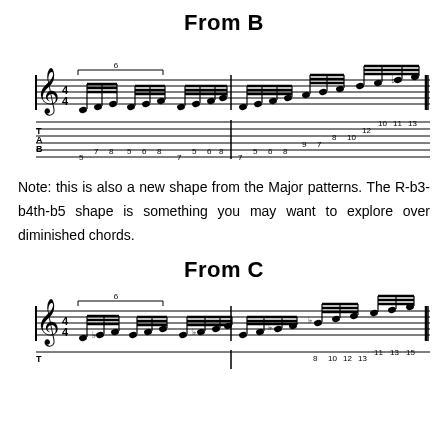From B
[Figure (illustration): Music notation and guitar tablature for a scale pattern starting from B, showing two measures of ascending notes with TAB numbers: 5 7 8, 5 6 8, 7 5 6 8 in first measure and 7, 5 6 8, 9, 7 8 10, 12, 10 11 13 in second measure.]
Note: this is also a new shape from the Major patterns. The R-b3-b4th-b5 shape is something you may want to explore over diminished chords.
From C
[Figure (illustration): Music notation and guitar tablature for a scale pattern starting from C, showing the beginning of a similar ascending pattern with partial TAB numbers visible: 13, 8 10 12, 11 13 15.]